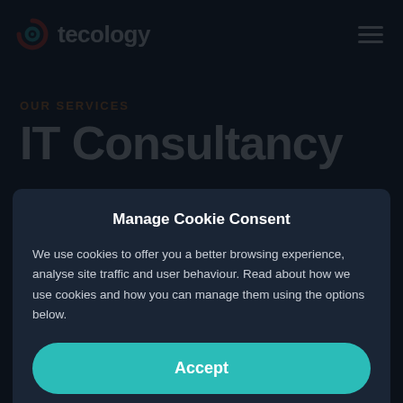tecology — navigation header with hamburger menu
OUR SERVICES
IT Consultancy
Manage Cookie Consent
We use cookies to offer you a better browsing experience, analyse site traffic and user behaviour. Read about how we use cookies and how you can manage them using the options below.
Accept
Preferences
Cookie Policy · Privacy Policy